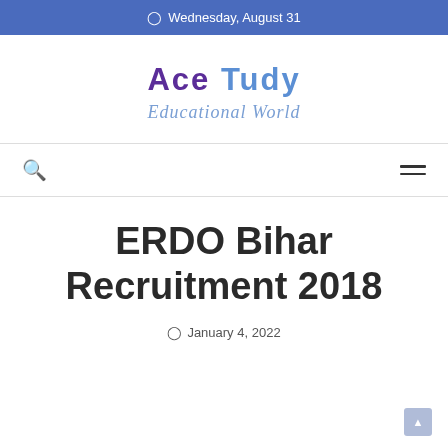Wednesday, August 31
[Figure (logo): Ace Tudy Educational World logo with stylized text]
ERDO Bihar Recruitment 2018
January 4, 2022